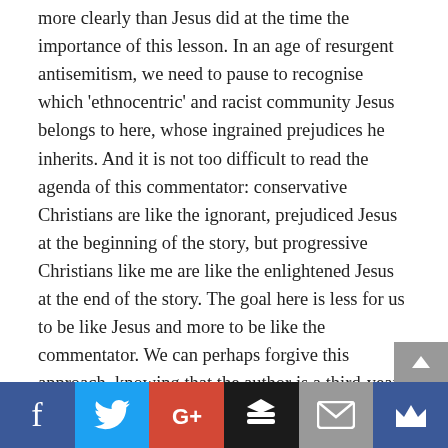more clearly than Jesus did at the time the importance of this lesson. In an age of resurgent antisemitism, we need to pause to recognise which 'ethnocentric' and racist community Jesus belongs to here, whose ingrained prejudices he inherits. And it is not too difficult to read the agenda of this commentator: conservative Christians are like the ignorant, prejudiced Jesus at the beginning of the story, but progressive Christians like me are like the enlightened Jesus at the end of the story. The goal here is less for us to be like Jesus and more to be like the commentator. We can perhaps forgive this approach, knowing that the author is a third-year undergraduate in law (not theology) at Harvard. But others take a similar line:
[Figure (other): Social media share bar with Facebook, Twitter, Google+, Buffer, Email, and Crown icons]